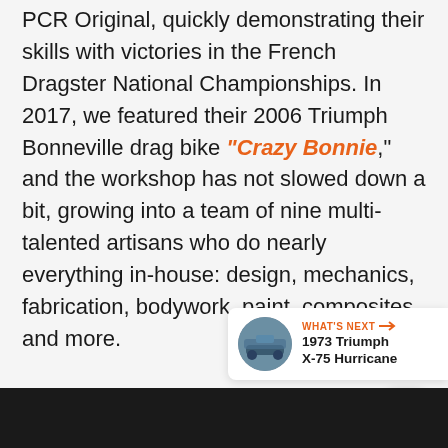PCR Original, quickly demonstrating their skills with victories in the French Dragster National Championships. In 2017, we featured their 2006 Triumph Bonneville drag bike "Crazy Bonnie," and the workshop has not slowed down a bit, growing into a team of nine multi-talented artisans who do nearly everything in-house: design, mechanics, fabrication, bodywork, paint, composites, and more.
[Figure (other): Orange circular heart/favorite button and white rounded share button with share icon]
[Figure (other): What's Next panel showing a thumbnail of a blue motorcycle and text '1973 Triumph X-75 Hurricane']